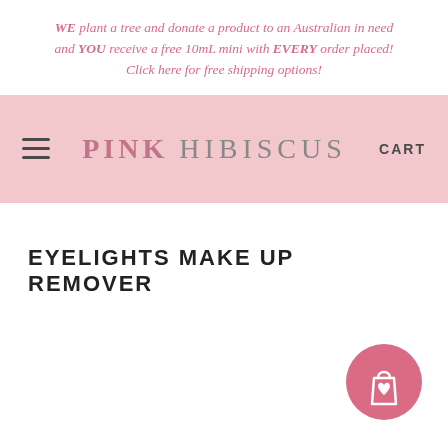WE plant a tree and donate a product to an Australian in need and YOU receive a free 10mL mini with EVERY order placed! Click here for free shipping options!
[Figure (logo): Pink Hibiscus brand logo with hamburger menu icon on left and CART text on right, on a pink background]
EYELIGHTS MAKE UP REMOVER
[Figure (illustration): Pink circular shopping bag icon with a heart, positioned at bottom right]